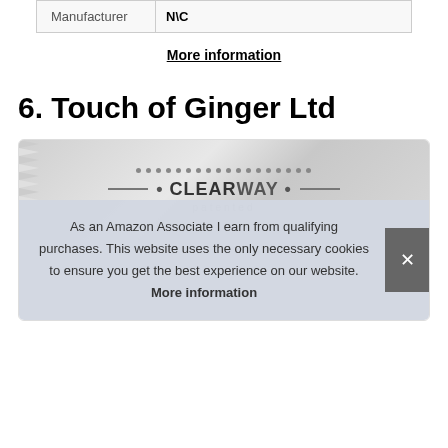| Manufacturer | N\C |
| --- | --- |
| Manufacturer | N\C |
More information
6. Touch of Ginger Ltd
[Figure (photo): Product image showing Clearway patented product label with metallic silver background and zigzag edge]
As an Amazon Associate I earn from qualifying purchases. This website uses the only necessary cookies to ensure you get the best experience on our website. More information